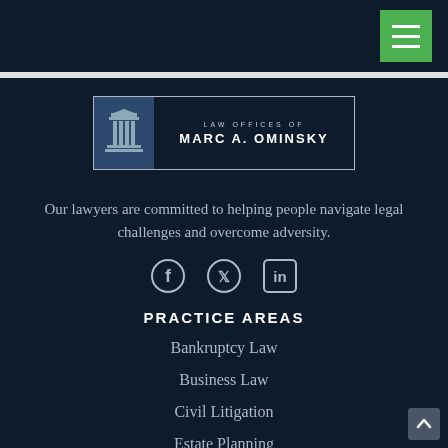Law Offices of Marc A. Ominsky – navigation bar with hamburger menu
[Figure (logo): Law Offices of Marc A. Ominsky logo with pillar icon, text 'LAW OFFICES OF MARC A. OMINSKY']
Our lawyers are committed to helping people navigate legal challenges and overcome adversity.
[Figure (infographic): Social media icons: Facebook, Twitter, LinkedIn]
PRACTICE AREAS
Bankruptcy Law
Business Law
Civil Litigation
Estate Planning
Family Law (partially visible)